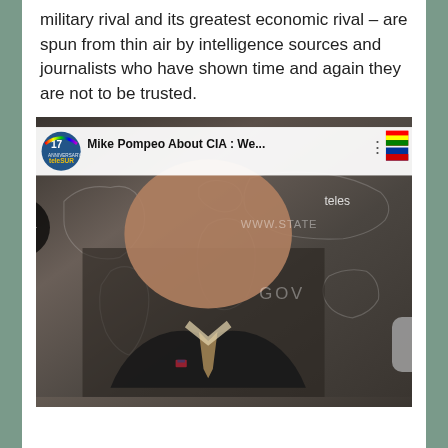military rival and its greatest economic rival – are spun from thin air by intelligence sources and journalists who have shown time and again they are not to be trusted.
[Figure (screenshot): YouTube video thumbnail embedded in article showing Mike Pompeo at a State Department briefing with the title 'Mike Pompeo About CIA : We...' from the telesur channel (17th anniversary logo). A play button is visible in the center. Partial text 'WWW.STATE' and 'telesur' visible.]